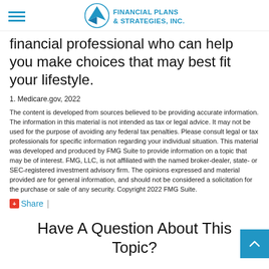Financial Plans & Strategies, Inc.
financial professional who can help you make choices that may best fit your lifestyle.
1. Medicare.gov, 2022
The content is developed from sources believed to be providing accurate information. The information in this material is not intended as tax or legal advice. It may not be used for the purpose of avoiding any federal tax penalties. Please consult legal or tax professionals for specific information regarding your individual situation. This material was developed and produced by FMG Suite to provide information on a topic that may be of interest. FMG, LLC, is not affiliated with the named broker-dealer, state- or SEC-registered investment advisory firm. The opinions expressed and material provided are for general information, and should not be considered a solicitation for the purchase or sale of any security. Copyright 2022 FMG Suite.
Share |
Have A Question About This Topic?